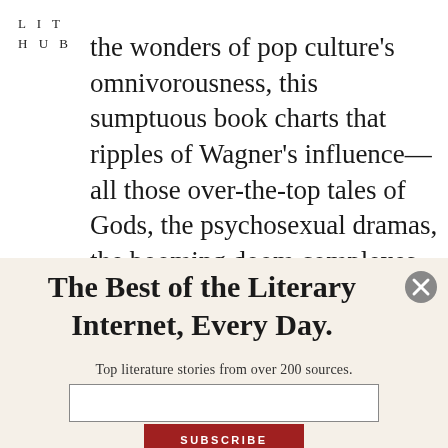LIT
HUB
the wonders of pop culture's omnivorousness, this sumptuous book charts that ripples of Wagner's influence—all those over-the-top tales of Gods, the psychosexual dramas, the booming doom complexes—into the work of poets
The Best of the Literary Internet, Every Day.
Top literature stories from over 200 sources.